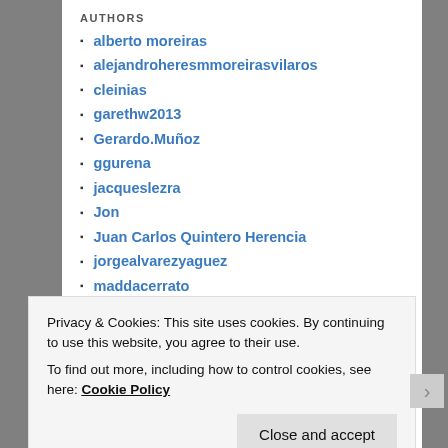AUTHORS
alberto moreiras
alejandroheresmmoreirasvilaros
cleinias
garethw2013
Gerardo.Muñoz
ggurena
jacqueslezra
Jon
Juan Carlos Quintero Herencia
jorgealvarezyaguez
maddacerrato
Michael Portal
mrarkadin81
Privacy & Cookies: This site uses cookies. By continuing to use this website, you agree to their use.
To find out more, including how to control cookies, see here: Cookie Policy